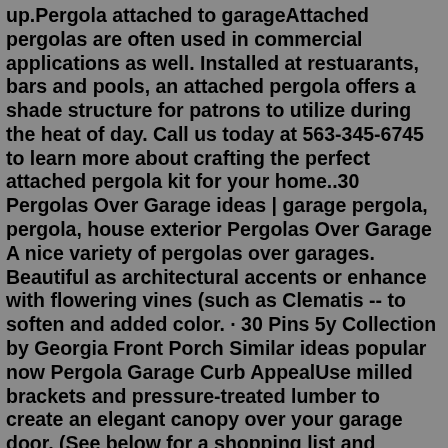up.Pergola attached to garageAttached pergolas are often used in commercial applications as well. Installed at restuarants, bars and pools, an attached pergola offers a shade structure for patrons to utilize during the heat of day. Call us today at 563-345-6745 to learn more about crafting the perfect attached pergola kit for your home..30 Pergolas Over Garage ideas | garage pergola, pergola, house exterior Pergolas Over Garage A nice variety of pergolas over garages. Beautiful as architectural accents or enhance with flowering vines (such as Clematis -- to soften and added color. · 30 Pins 5y Collection by Georgia Front Porch Similar ideas popular now Pergola Garage Curb AppealUse milled brackets and pressure-treated lumber to create an elegant canopy over your garage door. (See below for a shopping list and tools.)SUBSCRIBE to Thi... About Our Eyebrow Pergola Kits. Type: Eyebrow Pergola to go above garage, front door and/or windows. Depth: 3 feet (36 inches) out from the structure. Width (Length): Variable (select above: 8' - 28') Interior Structure of